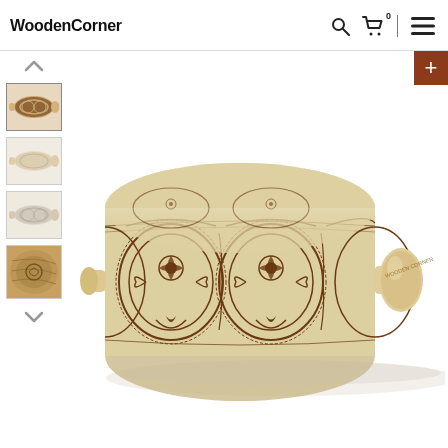WoodenCorner
[Figure (photo): E-commerce product page for WoodenCorner showing an engraved wooden rolling pin with ornate damask/floral pattern. Left side has thumbnail gallery with up/down arrows showing 4 thumbnails: two views of engraved rolling pin, one light version, and a close-up of the wood. Main image shows the rolling pin with dark brown intricate floral engraving on the barrel and a smooth wooden handle with WoodenCorner branding. A brown '+' button is in the top right of the main image area.]